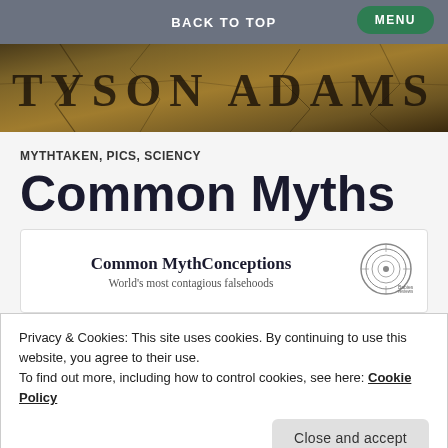BACK TO TOP
[Figure (illustration): Tyson Adams website banner with cracked stone texture and the text 'TYSON ADAMS' in large serif font]
MYTHTAKEN, PICS, SCIENCY
Common Myths
[Figure (illustration): Book cover card showing 'Common MythConceptions – World's most contagious falsehoods' with a circular logo/icon on the right]
Privacy & Cookies: This site uses cookies. By continuing to use this website, you agree to their use.
To find out more, including how to control cookies, see here: Cookie Policy